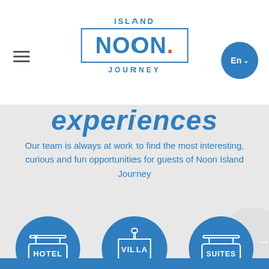[Figure (logo): Island Noon Journey logo with blue rectangle border and orange dot]
experiences
Our team is always at work to find the most interesting, curious and fun opportunities for guests of Noon Island Journey
[Figure (illustration): Hotel icon inside blue circle]
[Figure (illustration): Villa icon inside blue circle]
[Figure (illustration): Suites icon inside blue circle]
Hotels
Villas Apartments Maisonettes
Suites